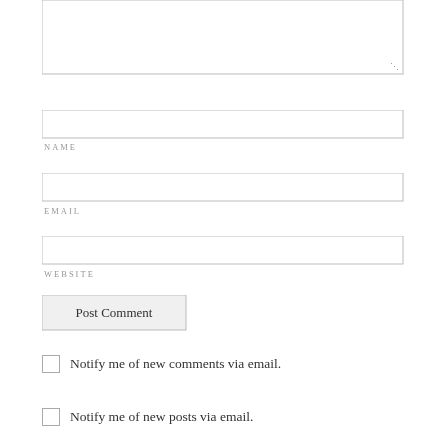[Figure (screenshot): Comment textarea input box (partially visible at top of page)]
NAME
EMAIL
WEBSITE
Post Comment
Notify me of new comments via email.
Notify me of new posts via email.